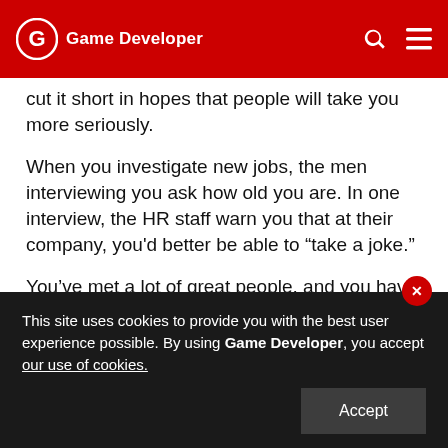Game Developer
cut it short in hopes that people will take you more seriously.
When you investigate new jobs, the men interviewing you ask how old you are. In one interview, the HR staff warn you that at their company, you'd better be able to “take a joke.”
You’ve met a lot of great people, and you have a lot of friends that you like to work with. Sometimes you don’t feel lonely or like a novelty, like when you’re sitting around the lunch table, cracking jokes with
This site uses cookies to provide you with the best user experience possible. By using Game Developer, you accept our use of cookies.